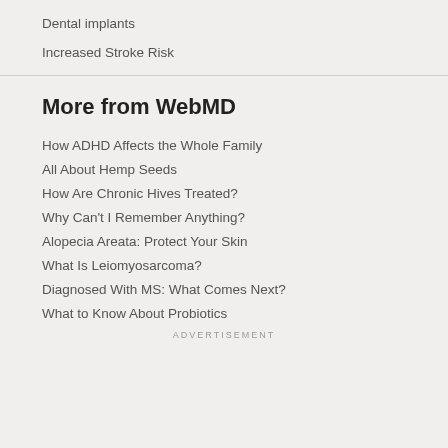Dental implants
Increased Stroke Risk
More from WebMD
How ADHD Affects the Whole Family
All About Hemp Seeds
How Are Chronic Hives Treated?
Why Can't I Remember Anything?
Alopecia Areata: Protect Your Skin
What Is Leiomyosarcoma?
Diagnosed With MS: What Comes Next?
What to Know About Probiotics
ADVERTISEMENT